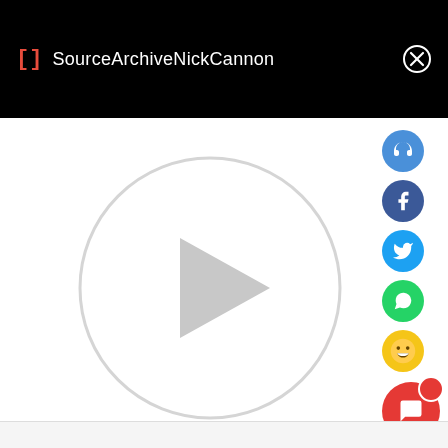[] SourceArchiveNickCannon ✕
[Figure (screenshot): Video player with large circular play button outline and a right-pointing triangle (play icon) centered inside, on a white background]
[Figure (infographic): Vertical sidebar with social/action icon buttons: headphones (blue), Facebook (dark blue), Twitter (blue), WhatsApp (green), laughing emoji (yellow), chat bubble (red with notification dot), share (red)]